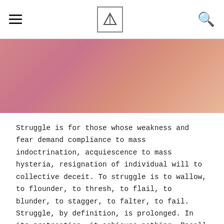[hamburger menu] [logo] [search]
[Figure (illustration): Hero image with pinkish-rose gradient background, no text]
Struggle is for those whose weakness and fear demand compliance to mass indoctrination, acquiescence to mass hysteria, resignation of individual will to collective deceit. To struggle is to wallow, to flounder, to thresh, to flail, to blunder, to stagger, to falter, to fail. Struggle, by definition, is prolonged. In its protraction, it achieves nothing. Recall Sisyphus, king of Corinth, condemned in Tartarus to roll a huge stone up a hill